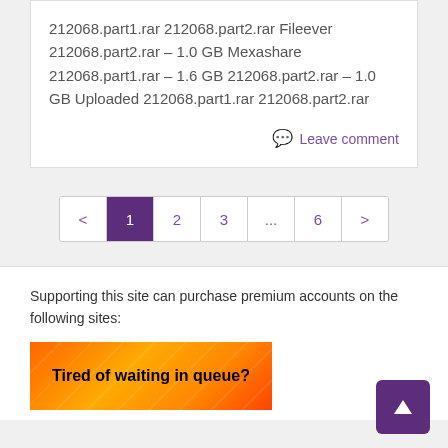212068.part1.rar 212068.part2.rar Fileever 212068.part2.rar – 1.0 GB Mexashare 212068.part1.rar – 1.6 GB 212068.part2.rar – 1.0 GB Uploaded 212068.part1.rar 212068.part2.rar
Leave comment
< 1 2 3 ... 6 >
Supporting this site can purchase premium accounts on the following sites:
[Figure (infographic): Orange banner with text 'Tired of waiting in queue?']